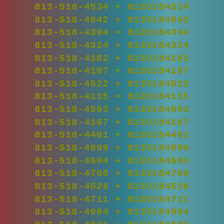813-518-4534 + 8135184534
813-518-4042 + 8135184042
813-518-4394 + 8135184394
813-518-4324 + 8135184324
813-518-4182 + 8135184182
813-518-4197 + 8135184197
813-518-4522 + 8135184522
813-518-4115 + 8135184115
813-518-4503 + 8135184503
813-518-4167 + 8135184167
813-518-4401 + 8135184401
813-518-4099 + 8135184099
813-518-4504 + 8135184504
813-518-4760 + 8135184760
813-518-4526 + 8135184526
813-518-4711 + 8135184711
813-518-4904 + 8135184904
813-518-4886 + 8135184886
813-518-4722 + 8135184722
813-518-4082 + 8135184082
813-518-4105 + 8135184105
813-518-4156 + 8135184156